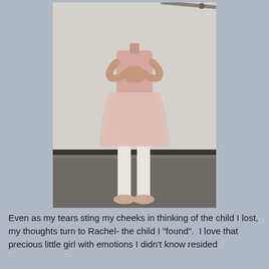[Figure (photo): A young girl in a pink ballet dress, white tights, and pink ballet slippers standing in what appears to be a dance studio. Her hands are clasped together at her chest. A ballet barre is visible in the background.]
Even as my tears sting my cheeks in thinking of the child I lost, my thoughts turn to Rachel- the child I "found".  I love that precious little girl with emotions I didn't know resided